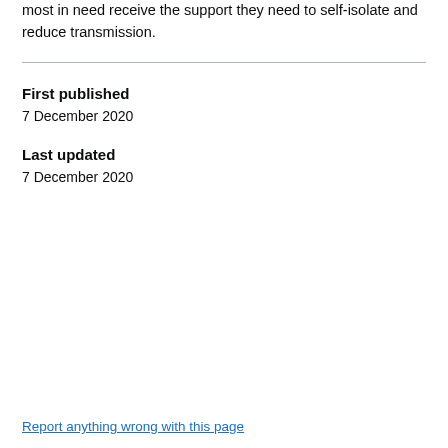the scheme under review to ensure that those most in need receive the support they need to self-isolate and reduce transmission.
First published
7 December 2020
Last updated
7 December 2020
Report anything wrong with this page